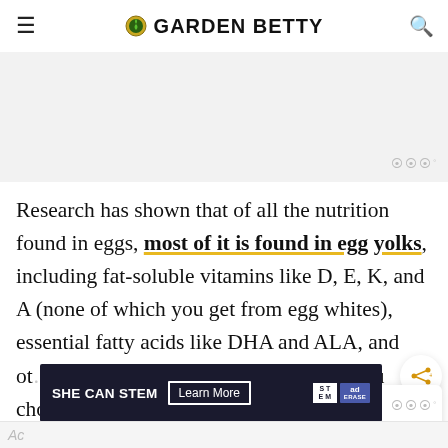GARDEN BETTY
Research has shown that of all the nutrition found in eggs, most of it is found in egg yolks, including fat-soluble vitamins like D, E, K, and A (none of which you get from egg whites), essential fatty acids like DHA and ALA, and other nutrients like calcium, iron, magnesium, choline, and B vitamins.
[Figure (other): Ad banner: SHE CAN STEM with Learn More button and ad logos]